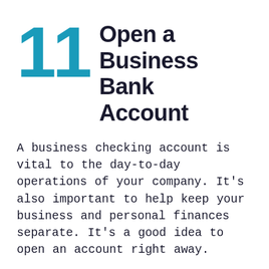11 Open a Business Bank Account
A business checking account is vital to the day-to-day operations of your company. It's also important to help keep your business and personal finances separate. It's a good idea to open an account right away.
To open an account, you'll need your formation paperwork, business license, and EIN. Most banks and credit unions offer business accounts, so simply look around for a solution that meets your needs.